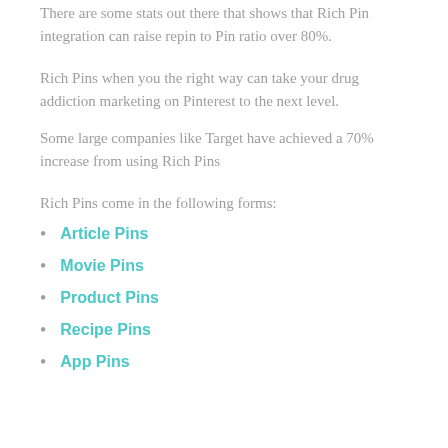There are some stats out there that shows that Rich Pin integration can raise repin to Pin ratio over 80%.
Rich Pins when you the right way can take your drug addiction marketing on Pinterest to the next level.
Some large companies like Target have achieved a 70% increase from using Rich Pins
Rich Pins come in the following forms:
Article Pins
Movie Pins
Product Pins
Recipe Pins
App Pins